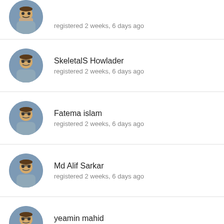registered 2 weeks, 6 days ago
SkeletalS Howlader
registered 2 weeks, 6 days ago
Fatema islam
registered 2 weeks, 6 days ago
Md Alif Sarkar
registered 2 weeks, 6 days ago
yeamin mahid
registered 2 weeks, 6 days ago
MEMBERS